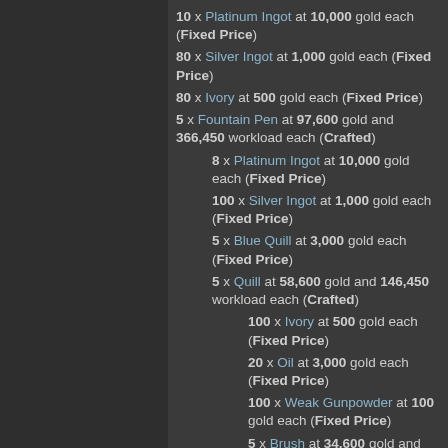10 x Platinum Ingot at 10,000 gold each (Fixed Price)
80 x Silver Ingot at 1,000 gold each (Fixed Price)
80 x Ivory at 500 gold each (Fixed Price)
5 x Fountain Pen at 97,600 gold and 366,450 workload each (Crafted)
8 x Platinum Ingot at 10,000 gold each (Fixed Price)
100 x Silver Ingot at 1,000 gold each (Fixed Price)
5 x Blue Quill at 3,000 gold each (Fixed Price)
5 x Quill at 58,600 gold and 146,450 workload each (Crafted)
100 x Ivory at 500 gold each (Fixed Price)
20 x Oil at 3,000 gold each (Fixed Price)
100 x Weak Gunpowder at 100 gold each (Fixed Price)
5 x Brush at 34,600 gold and 60,450 workload each (Crafted)
50 x Pine at 500 gold each